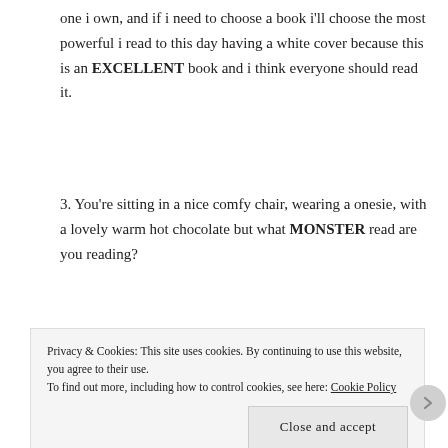one i own, and if i need to choose a book i'll choose the most powerful i read to this day having a white cover because this is an EXCELLENT book and i think everyone should read it.
3. You're sitting in a nice comfy chair, wearing a onesie, with a lovely warm hot chocolate but what MONSTER read are you reading?
[Figure (photo): Book cover showing 'International Best Seller' text at the top and large number on a light pink/white background]
Privacy & Cookies: This site uses cookies. By continuing to use this website, you agree to their use.
To find out more, including how to control cookies, see here: Cookie Policy
Close and accept